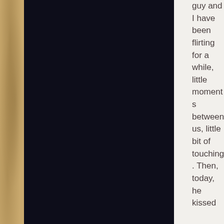[Figure (photo): Dark nearly black image panel]
guy and I have been flirting for a while, little moments between us, little bit of touching. Then, today, he kissed